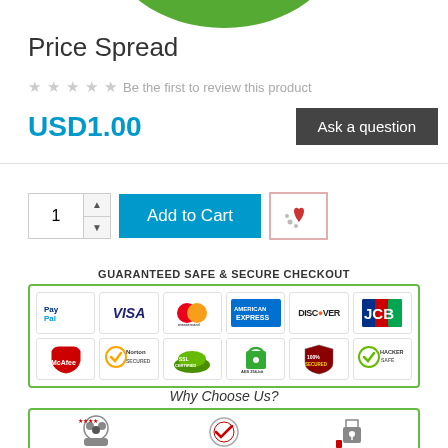[Figure (illustration): Green circular arc/logo partially visible at the top of the page]
Price Spread
★ ★ ★ ★ ★  Be the first to review this product
USD1.00
Ask a question
[Figure (illustration): Add to Cart section with quantity selector (showing 1), Add to Cart button, and wishlist heart icon button]
[Figure (infographic): Guaranteed Safe & Secure Checkout badge with payment logos: PayPal, VISA, Mastercard, American Express, Discover, JCB, McAfee, Norton Secured, SSL Certified, AES 256-bit, 100% Secured, Hacker Safe]
[Figure (infographic): Why Choose Us? section with icons for 100,000+ Happy Customers, Quality Assurance, and Secure Shopping]